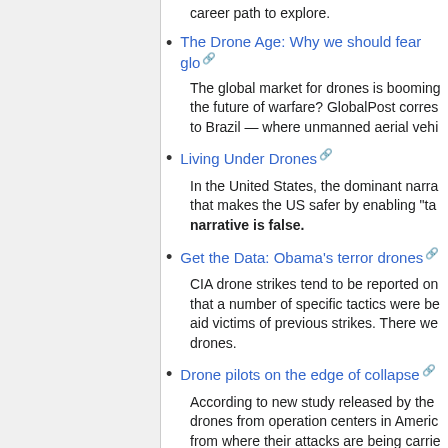career path to explore.
The Drone Age: Why we should fear glo...
The global market for drones is booming... the future of warfare? GlobalPost corres... to Brazil — where unmanned aerial vehi...
Living Under Drones
In the United States, the dominant narra... that makes the US safer by enabling "ta... narrative is false.
Get the Data: Obama's terror drones
CIA drone strikes tend to be reported on... that a number of specific tactics were be... aid victims of previous strikes. There we... drones.
Drone pilots on the edge of collapse
According to new study released by the... drones from operation centers in Americ... from where their attacks are being carrie...